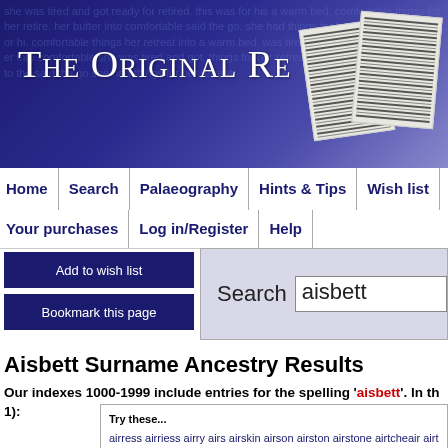[Figure (screenshot): Website banner for 'The Original Re...' with dark blue/purple gradient background and decorative text, plus newspaper images in top right]
The Original Re
Home | Search | Palaeography | Hints & Tips | Wish list | Surnames
Your purchases | Log in/Register | Help
Add to wish list
Bookmark this page
Search aisbett
Aisbett Surname Ancestry Results
Our indexes 1000-1999 include entries for the spelling 'aisbett'. In th 1):
Try these...
airress airriess airry airs airskin airson airston airstone airtcheair airth airtice
aisch aischele aiscock aiscogh aiscoigh aiscote aiscott aiscough aiscoughe
These sample scans are from the original record. You will get scans found.
Your web browser may prevent the sample windows from opening in this case please